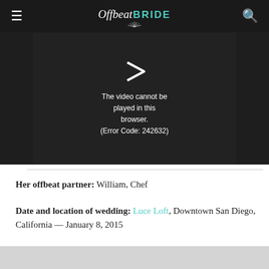Offbeat Bride
[Figure (screenshot): Video player showing error message: 'The video cannot be played in this browser. (Error Code: 242632)']
Her offbeat partner: William, Chef
Date and location of wedding: Luce Loft, Downtown San Diego, California — January 8, 2015